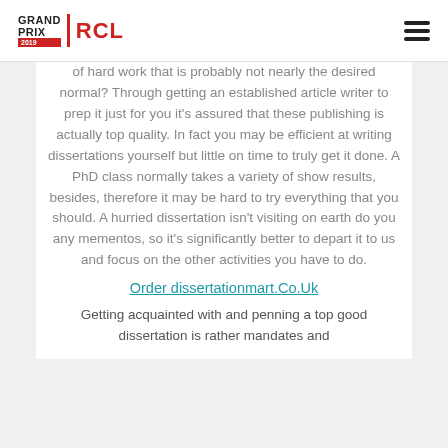GRAND PRIX 2019 RCL
of hard work that is probably not nearly the desired normal? Through getting an established article writer to prep it just for you it's assured that these publishing is actually top quality. In fact you may be efficient at writing dissertations yourself but little on time to truly get it done. A PhD class normally takes a variety of show results, besides, therefore it may be hard to try everything that you should. A hurried dissertation isn't visiting on earth do you any mementos, so it's significantly better to depart it to us and focus on the other activities you have to do.
Order dissertationmart.Co.Uk
Getting acquainted with and penning a top good dissertation is rather mandates and